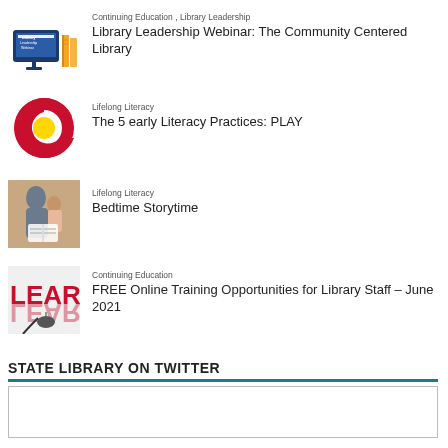[Figure (illustration): Library Leadership Webinar logo with a computer screen and books]
Continuing Education , Library Leadership
Library Leadership Webinar: The Community Centered Library
[Figure (logo): Colorado state logo - red C with yellow circle]
Lifelong Literacy
The 5 early Literacy Practices: PLAY
[Figure (photo): Adult reading with child - storytime photo]
Lifelong Literacy
Bedtime Storytime
[Figure (photo): LEARN text with computer mouse photo]
Continuing Education
FREE Online Training Opportunities for Library Staff – June 2021
STATE LIBRARY ON TWITTER